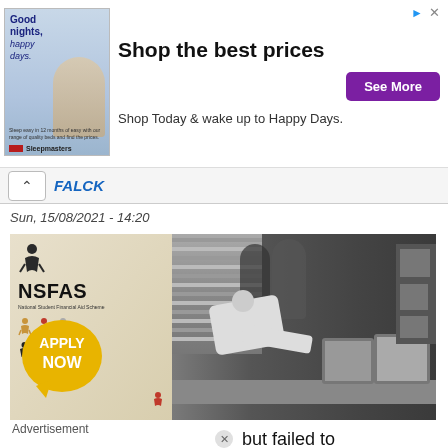[Figure (infographic): Sleepmasters advertisement banner: 'Shop the best prices – Shop Today & wake up to Happy Days' with See More button and woman on bed image]
[Figure (photo): NSFAS (National Student Financial Aid Scheme) banner with 'Apply Now' speech bubble on left, black and white photo of a person leaning over a computer desk on right]
Sun, 15/08/2021 - 14:20
Advertisement
but failed to
u should
d Student